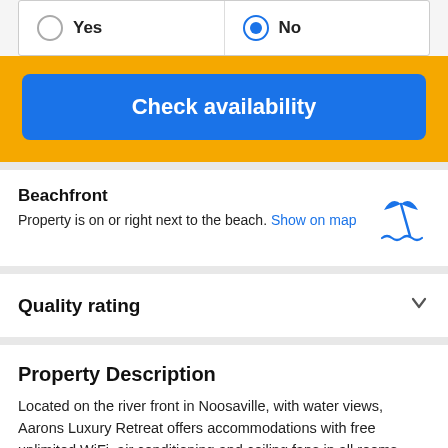Yes / No radio buttons (No selected)
Check availability
Beachfront
Property is on or right next to the beach. Show on map
[Figure (illustration): Beach umbrella with waves icon in blue]
Quality rating
Property Description
Located on the river front in Noosaville, with water views, Aarons Luxury Retreat offers accommodations with free unlimited WiFi, air conditioning and ceiling fans in all rooms. Guests may go for a